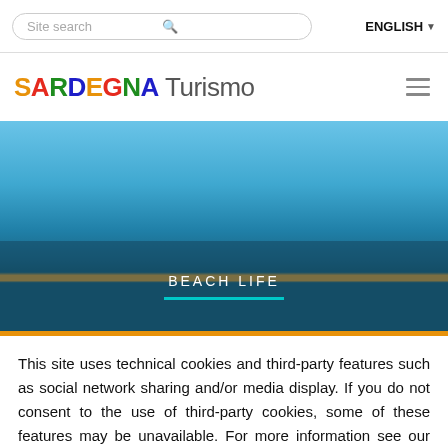Site search | ENGLISH
[Figure (logo): SARDEGNA Turismo logo with multicolor letters and hamburger menu icon]
[Figure (photo): Aerial or beach photo showing blue sky and turquoise sea water, with 'BEACH LIFE' text overlay and teal underline bar, orange horizontal stripe at bottom]
This site uses technical cookies and third-party features such as social network sharing and/or media display. If you do not consent to the use of third-party cookies, some of these features may be unavailable. For more information see our privacy policy.
OK, I AGREE